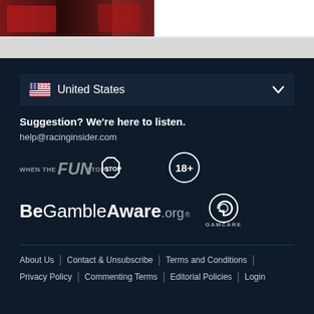[Figure (photo): Partial view of horse racing image showing jockey in red and black colors at top of page]
United States
Suggestion? We're here to listen.
help@racinginsider.com
[Figure (logo): When The FUN STOPS STOP responsible gambling logo and 18+ age restriction badge]
[Figure (logo): BeGambleAware.org logo and GamCare logo]
About Us | Contact & Unsubscribe | Terms and Conditions | Privacy Policy | Commenting Terms | Editorial Policies | Login